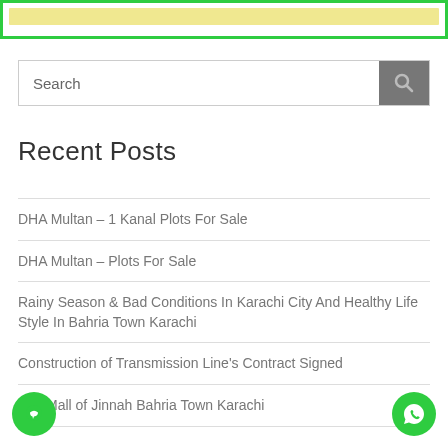[Figure (screenshot): Top banner with green border and yellow/cream inner bar]
[Figure (screenshot): Search bar with magnifying glass icon button]
Recent Posts
DHA Multan – 1 Kanal Plots For Sale
DHA Multan – Plots For Sale
Rainy Season & Bad Conditions In Karachi City And Healthy Life Style In Bahria Town Karachi
Construction of Transmission Line's Contract Signed
The Mall of Jinnah Bahria Town Karachi